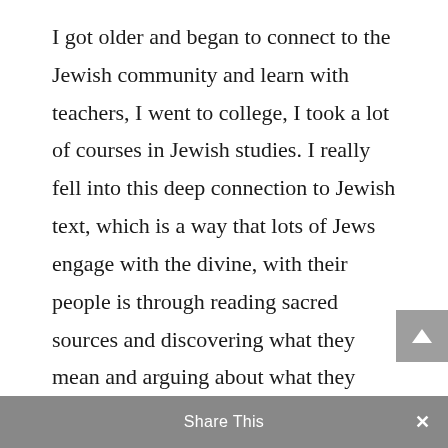I got older and began to connect to the Jewish community and learn with teachers, I went to college, I took a lot of courses in Jewish studies. I really fell into this deep connection to Jewish text, which is a way that lots of Jews engage with the divine, with their people is through reading sacred sources and discovering what they mean and arguing about what they mean. So both of those really continued for me in a kind of parallel track. I was really interested in this process of interpretation and adding new voices to the ancestral tradition. And at the same time, I would go
Share This ×